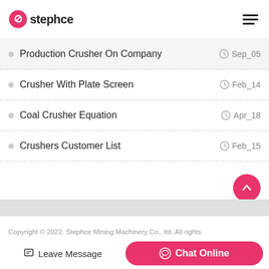stephce
Production Crusher On Company — Sep_05
Crusher With Plate Screen — Feb_14
Coal Crusher Equation — Apr_18
Crushers Customer List — Feb_15
Copyright © 2022. Stephce Mining Machinery Co., ltd. All rights
Leave Message | Chat Online